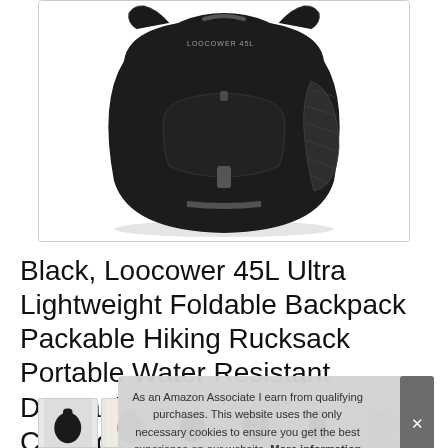[Figure (photo): Black backpack product photo on white background — Loocower 45L Ultra Lightweight Foldable Backpack, shown from the front at a slight angle, with mesh side pocket and multiple compartments visible.]
Black, Loocower 45L Ultra Lightweight Foldable Backpack Packable Hiking Rucksack Portable Water Resistant Daypack Bag for Camping Cycling Tra... Mo...
As an Amazon Associate I earn from qualifying purchases. This website uses the only necessary cookies to ensure you get the best experience on our website. More information
[Figure (photo): Thumbnail strip of product images at the bottom of the page]